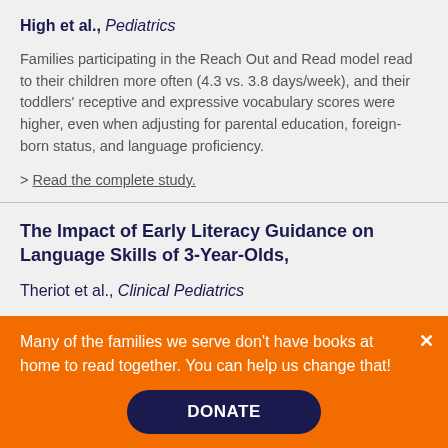High et al., Pediatrics
Families participating in the Reach Out and Read model read to their children more often (4.3 vs. 3.8 days/week), and their toddlers' receptive and expressive vocabulary scores were higher, even when adjusting for parental education, foreign-born status, and language proficiency.
> Read the complete study.
The Impact of Early Literacy Guidance on Language Skills of 3-Year-Olds,
Theriot et al., Clinical Pediatrics
Among children aged 33 months to 39 months attending a
Many of the families we serve don't have books at home to read together. You can help us change that!
DONATE